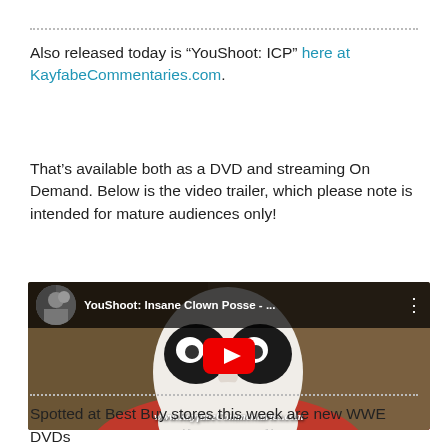Also released today is “YouShoot: ICP” here at KayfabeCommentaries.com.
That’s available both as a DVD and streaming On Demand. Below is the video trailer, which please note is intended for mature audiences only!
[Figure (screenshot): YouTube video thumbnail for 'YouShoot: Insane Clown Posse - ...' showing a person in clown makeup wearing a red shirt, with a YouTube play button overlay and www.KayfabeCommentaries.com watermark]
Spotted at Best Buy stores this week are new WWE DVDs